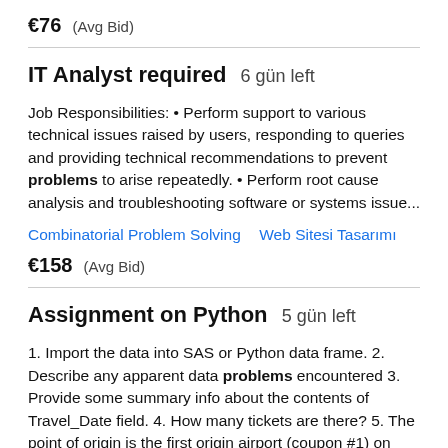€76  (Avg Bid)
IT Analyst required  6 gün left
Job Responsibilities: • Perform support to various technical issues raised by users, responding to queries and providing technical recommendations to prevent problems to arise repeatedly. • Perform root cause analysis and troubleshooting software or systems issue...
Combinatorial Problem Solving   Web Sitesi Tasarımı
€158  (Avg Bid)
Assignment on Python  5 gün left
1. Import the data into SAS or Python data frame. 2. Describe any apparent data problems encountered 3. Provide some summary info about the contents of Travel_Date field. 4. How many tickets are there? 5. The point of origin is the first origin airport (coupon #1) on...